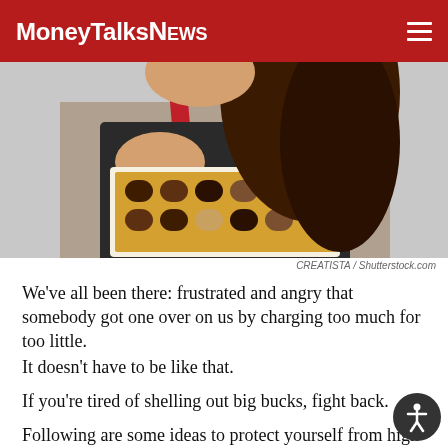MoneyTalksNews
[Figure (photo): Woman holding a box of chocolates, wearing a red and black outfit, hair down, against a light background.]
CREATISTA / Shutterstock.com
We’ve all been there: frustrated and angry that somebody got one over on us by charging too much for too little.
It doesn’t have to be like that.
If you’re tired of shelling out big bucks, fight back.
Following are some ideas to protect yourself from high